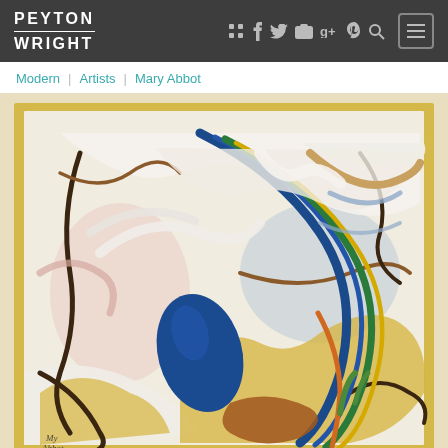PEYTON WRIGHT
Modern | Artists | Mary Abbot
[Figure (illustration): Abstract expressionist painting by Mary Abbot featuring bold sweeping brushstrokes in blue, green, yellow, orange, brown, and white on a light background with a yellow border. A large blue teardrop shape dominates the center-left, with curving dark lines and swirling forms throughout. Artist signature visible at bottom left.]